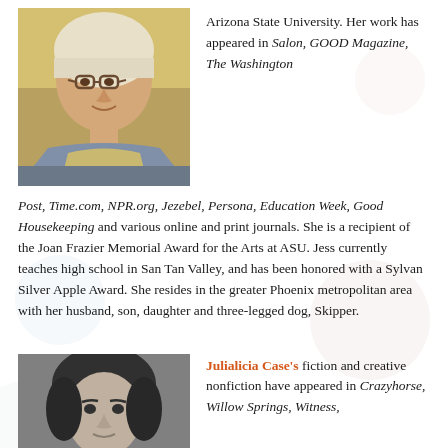[Figure (photo): Color photo of a white woman with short blonde/white hair, wearing glasses, a dark turtleneck, and a patterned scarf. She is smiling slightly.]
Arizona State University. Her work has appeared in Salon, GOOD Magazine, The Washington Post, Time.com, NPR.org, Jezebel, Persona, Education Week, Good Housekeeping and various online and print journals. She is a recipient of the Joan Frazier Memorial Award for the Arts at ASU. Jess currently teaches high school in San Tan Valley, and has been honored with a Sylvan Silver Apple Award. She resides in the greater Phoenix metropolitan area with her husband, son, daughter and three-legged dog, Skipper.
[Figure (photo): Black and white photo of a woman with dark hair swept to one side, looking slightly downward.]
Julialicia Case's fiction and creative nonfiction have appeared in Crazyhorse, Willow Springs, Witness,